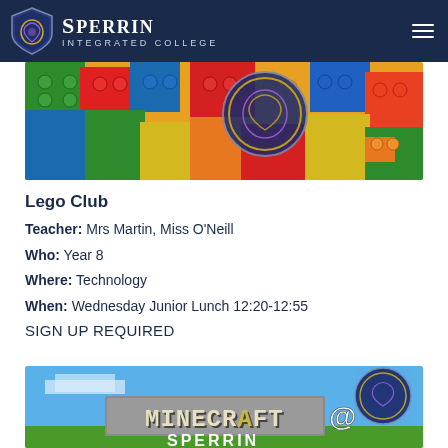SPERRIN INTEGRATED COLLEGE
[Figure (photo): Close-up photo of colorful LEGO bricks piled together with a circular Sperrin Integrated College logo visible among them]
Lego Club
Teacher: Mrs Martin, Miss O'Neill
Who: Year 8
Where: Technology
When: Wednesday Junior Lunch 12:20-12:55
SIGN UP REQUIRED
[Figure (photo): Minecraft @ Sperrin promotional image with Minecraft logo text and Sperrin branding on a blue sky background]